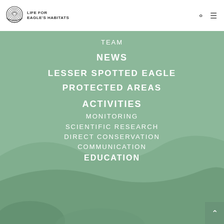[Figure (logo): Life for Eagle's Habitats logo with circular tree ring graphic and text]
TEAM
NEWS
LESSER SPOTTED EAGLE
PROTECTED AREAS
ACTIVITIES
MONITORING
SCIENTIFIC RESEARCH
DIRECT CONSERVATION
COMMUNICATION
EDUCATION